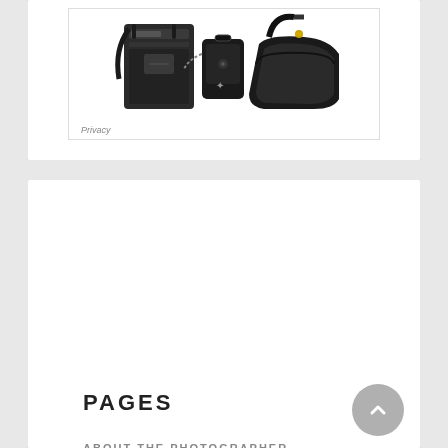[Figure (photo): Photo of camera bags and cases on white background with 'Privacy' watermark label]
PAGES
ABOUT THE PHOTOGRAPHER
BUSINESS PORTRAIT PHOTOGRAPHY
CONCERT PHOTOGRAPHY
EVENT PHOTOGRAPHY
FASHION PHOTOGRAPHY
FOOD PHOTOGRAPHY